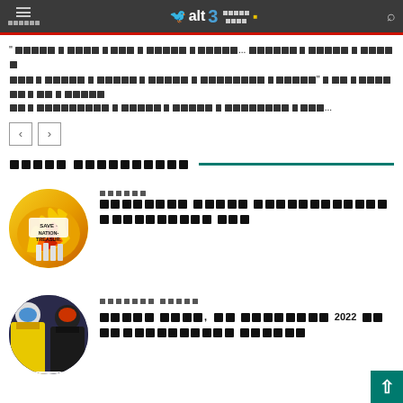altb - Bangla Shokor news website header
Bengali text excerpt with quote marks and ellipsis
Navigation previous/next arrows
Bengali section title with teal underline
[Figure (illustration): Circular thumbnail: cartoon illustration of flames with 'SAVE OUR NATIONAL TREASURE' text, yellow and black tones]
Bengali category label
Bengali article headline (two lines)
[Figure (photo): Circular thumbnail: two people in snow gear/ski outfits with helmets and goggles]
Bengali category label second article
Bengali article headline mentioning 2022